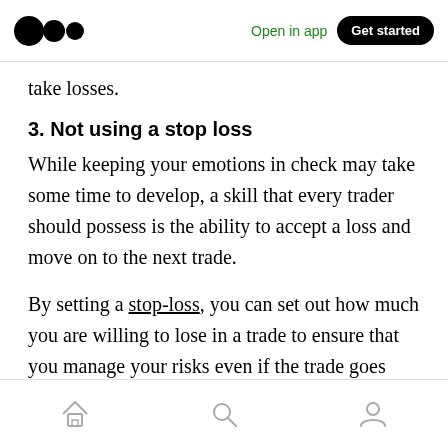Medium logo | Open in app | Get started
take losses.
3. Not using a stop loss
While keeping your emotions in check may take some time to develop, a skill that every trader should possess is the ability to accept a loss and move on to the next trade.
By setting a stop-loss, you can set out how much you are willing to lose in a trade to ensure that you manage your risks even if the trade goes south. The cryptocurrency market remains
Home | Search | Profile